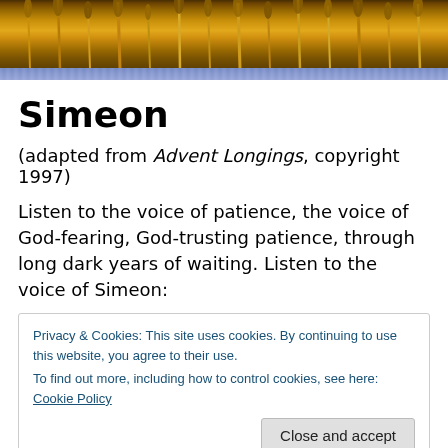[Figure (photo): Wheat stalks background photo with golden/amber tones, topped by a blue decorative strip]
Simeon
(adapted from Advent Longings, copyright 1997)
Listen to the voice of patience, the voice of God-fearing, God-trusting patience, through long dark years of waiting. Listen to the voice of Simeon:
Privacy & Cookies: This site uses cookies. By continuing to use this website, you agree to their use.
To find out more, including how to control cookies, see here: Cookie Policy
[Close and accept]
vow, say a thanksgiving prayer–and then they're gone